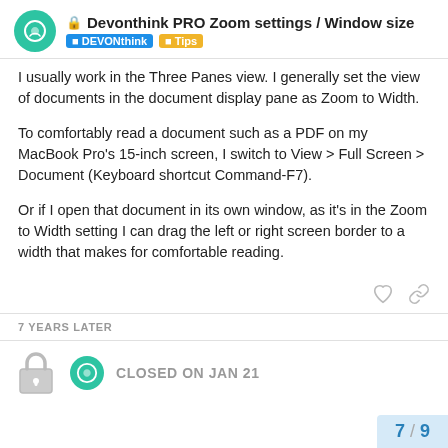Devonthink PRO Zoom settings / Window size | DEVONthink | Tips
I usually work in the Three Panes view. I generally set the view of documents in the document display pane as Zoom to Width.
To comfortably read a document such as a PDF on my MacBook Pro's 15-inch screen, I switch to View > Full Screen > Document (Keyboard shortcut Command-F7).
Or if I open that document in its own window, as it's in the Zoom to Width setting I can drag the left or right screen border to a width that makes for comfortable reading.
7 YEARS LATER
CLOSED ON JAN 21
7 / 9